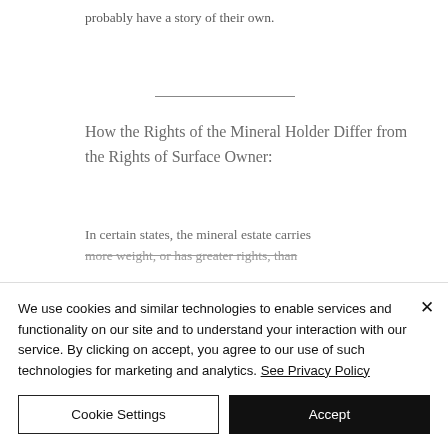probably have a story of their own.
How the Rights of the Mineral Holder Differ from the Rights of Surface Owner:
In certain states, the mineral estate carries more weight, or has greater rights, than
We use cookies and similar technologies to enable services and functionality on our site and to understand your interaction with our service. By clicking on accept, you agree to our use of such technologies for marketing and analytics. See Privacy Policy
Cookie Settings
Accept